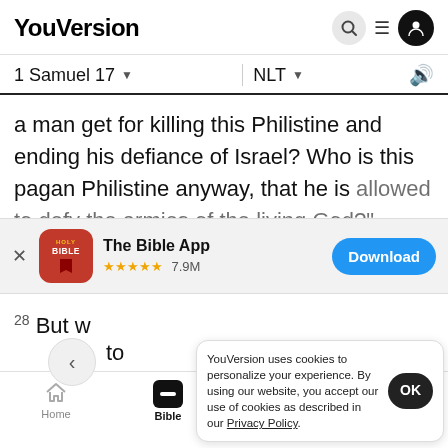YouVersion
1 Samuel 17  NLT
a man get for killing this Philistine and ending his defiance of Israel? Who is this pagan Philistine anyway, that he is allowed to defy the armies of the living God?"
[Figure (screenshot): The Bible App download banner with Holy Bible icon, 4.9 stars, 7.9M reviews, and a blue Download button]
28 But w...   to   around he
YouVersion uses cookies to personalize your experience. By using our website, you accept our use of cookies as described in our Privacy Policy.
[Figure (screenshot): Mobile navigation bar with Home, Bible (active), Plans, and Videos tabs]